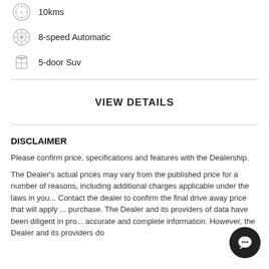10kms
8-speed Automatic
5-door Suv
VIEW DETAILS
DISCLAIMER
Please confirm price, specifications and features with the Dealership.
The Dealer's actual prices may vary from the published price for a number of reasons, including additional charges applicable under the laws in you... Contact the dealer to confirm the final drive away price that will apply ... purchase. The Dealer and its providers of data have been diligent in pro... accurate and complete information. However, the Dealer and its providers do